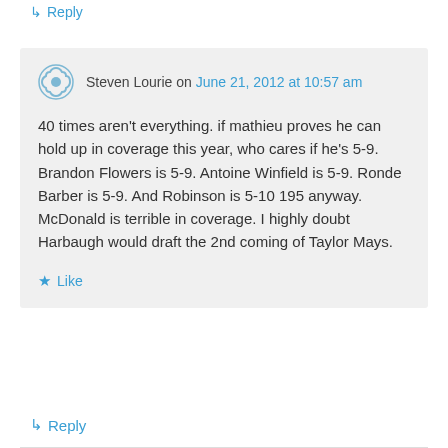↳ Reply
Steven Lourie on June 21, 2012 at 10:57 am
40 times aren't everything. if mathieu proves he can hold up in coverage this year, who cares if he's 5-9. Brandon Flowers is 5-9. Antoine Winfield is 5-9. Ronde Barber is 5-9. And Robinson is 5-10 195 anyway. McDonald is terrible in coverage. I highly doubt Harbaugh would draft the 2nd coming of Taylor Mays.
Like
↳ Reply